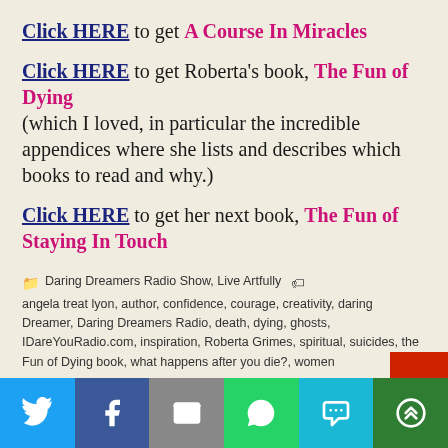Click HERE to get A Course In Miracles
Click HERE to get Roberta's book, The Fun of Dying (which I loved, in particular the incredible appendices where she lists and describes which books to read and why.)
Click HERE to get her next book, The Fun of Staying In Touch
Daring Dreamers Radio Show, Live Artfully | angela treat lyon, author, confidence, courage, creativity, daring Dreamer, Daring Dreamers Radio, death, dying, ghosts, IDareYouRadio.com, inspiration, Roberta Grimes, spiritual, suicides, the Fun of Dying book, what happens after you die?, women